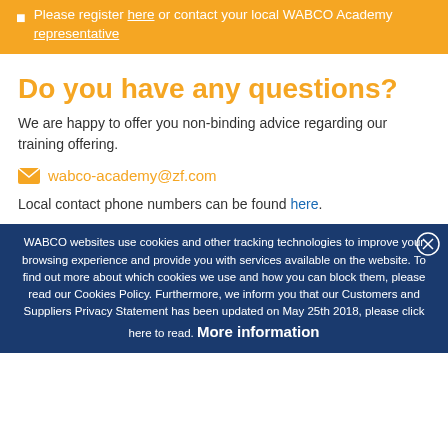Please register here or contact your local WABCO Academy representative
Do you have any questions?
We are happy to offer you non-binding advice regarding our training offering.
wabco-academy@zf.com
Local contact phone numbers can be found here.
WABCO websites use cookies and other tracking technologies to improve your browsing experience and provide you with services available on the website. To find out more about which cookies we use and how you can block them, please read our Cookies Policy. Furthermore, we inform you that our Customers and Suppliers Privacy Statement has been updated on May 25th 2018, please click here to read. More information